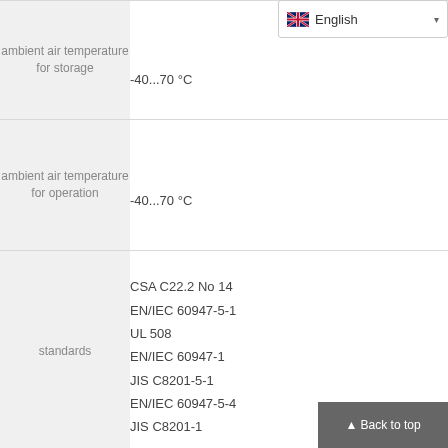| property | value |
| --- | --- |
| ambient air temperature for storage | -40...70 °C |
| ambient air temperature for operation | -40...70 °C |
| standards | CSA C22.2 No 14
EN/IEC 60947-5-1
UL 508
EN/IEC 60947-1
JIS C8201-5-1
EN/IEC 60947-5-4
JIS C8201-1 |
|  | CCC
UL
DNV
GL |